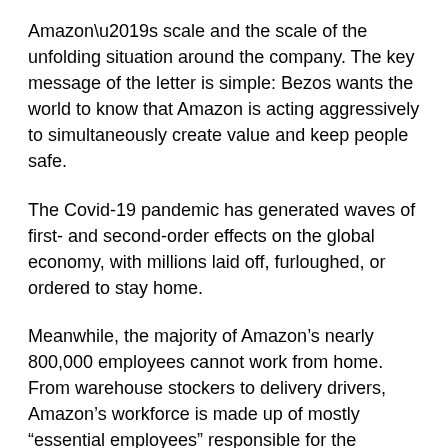Amazon’s scale and the scale of the unfolding situation around the company. The key message of the letter is simple: Bezos wants the world to know that Amazon is acting aggressively to simultaneously create value and keep people safe.
The Covid-19 pandemic has generated waves of first- and second-order effects on the global economy, with millions laid off, furloughed, or ordered to stay home.
Meanwhile, the majority of Amazon’s nearly 800,000 employees cannot work from home. From warehouse stockers to delivery drivers, Amazon’s workforce is made up of mostly “essential employees” responsible for the company’s vital shipping and logistics infrastructure.
While Amazon has seen sharp increases in sales since the beginning of the pandemic, the company